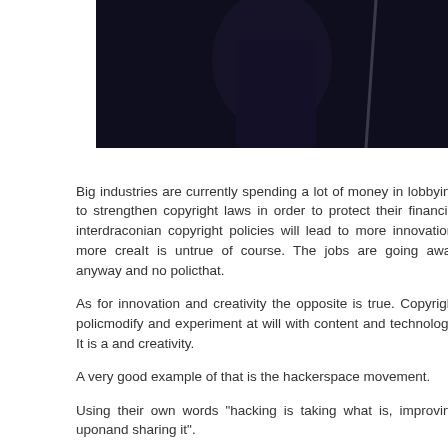[Figure (photo): Partial photo of a person at what appears to be a conference or event, dark background with a lanyard visible]
Big industries are currently spending a lot of money in lobbying to strengthen copyright laws in order to protect their financial interests. draconian copyright policies will lead to more innovation, more creativity. It is untrue of course. The jobs are going away anyway and no policy can change that.
As for innovation and creativity the opposite is true. Copyright policies that let you modify and experiment at will with content and technology. It is a stimulant for innovation and creativity.
A very good example of that is the hackerspace movement.
Using their own words "hacking is taking what is, improving upon it and sharing it".
The hackerspaces are community-operated physical places, where people work on their projects. They rely heavily on the open phenomenon they are contributing to. With open software and open hardware, programmers and designers are making their creation available to all for free, in a do it yourself manner. This openness is proven to be a fantastic stimulant for innovation and creativity. "We don't need to reinvent the wheel, we pick up where our peers left off".